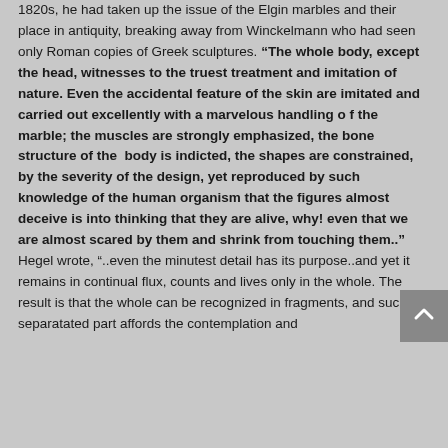1820s, he had taken up the issue of the Elgin marbles and their place in antiquity, breaking away from Winckelmann who had seen only Roman copies of Greek sculptures. “The whole body, except the head, witnesses to the truest treatment and imitation of nature. Even the accidental feature of the skin are imitated and carried out excellently with a marvelous handling o f the marble; the muscles are strongly emphasized, the bone structure of the body is indicted, the shapes are constrained, by the severity of the design, yet reproduced by such knowledge of the human organism that the figures almost deceive is into thinking that they are alive, why! even that we are almost scared by them and shrink from touching them..” Hegel wrote, “..even the minutest detail has its purpose..and yet it remains in continual flux, counts and lives only in the whole. The result is that the whole can be recognized in fragments, and such a separatated part affords the contemplation and